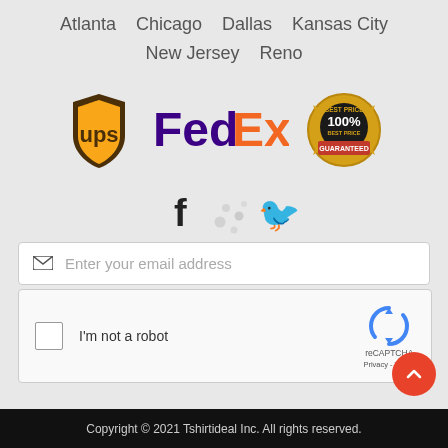Atlanta   Chicago   Dallas   Kansas City
New Jersey   Reno
[Figure (logo): UPS logo, FedEx logo, and 100% Best Price Guaranteed badge]
[Figure (illustration): Facebook and Twitter social media icons with decorative dots]
Enter your email address (email input field with envelope icon)
[Figure (screenshot): reCAPTCHA widget with checkbox labeled I'm not a robot]
Copyright © 2021 Tshirtideal Inc. All rights reserved.